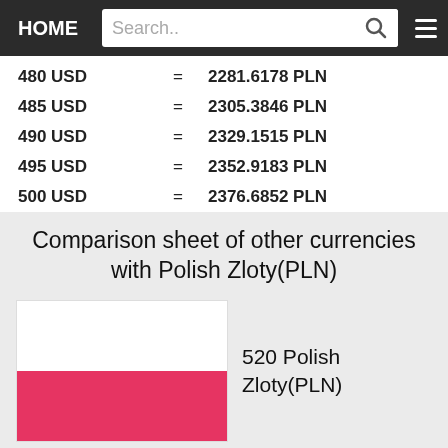HOME | Search..
| From | = | To |
| --- | --- | --- |
| 480 USD | = | 2281.6178 PLN |
| 485 USD | = | 2305.3846 PLN |
| 490 USD | = | 2329.1515 PLN |
| 495 USD | = | 2352.9183 PLN |
| 500 USD | = | 2376.6852 PLN |
Comparison sheet of other currencies with Polish Zloty(PLN)
[Figure (illustration): Polish national flag — white upper half, red lower half]
520 Polish Zloty(PLN)
IS Equal TO